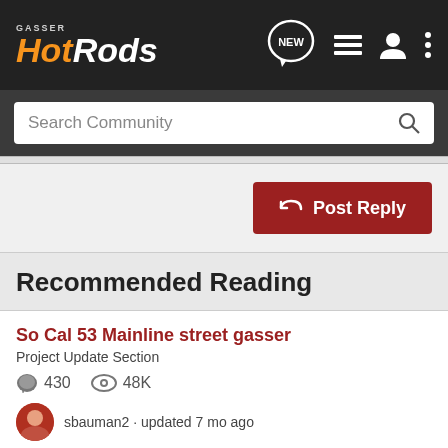Gasser Hot Rods - Navigation bar with logo, NEW, list, user, and menu icons
Search Community
Post Reply
Recommended Reading
So Cal 53 Mainline street gasser
Project Update Section
430  48K
sbauman2 · updated 7 mo ago
What got you hooked on Gassers?